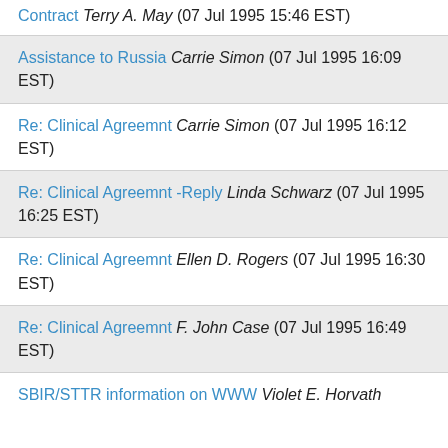Contract Terry A. May (07 Jul 1995 15:46 EST)
Assistance to Russia Carrie Simon (07 Jul 1995 16:09 EST)
Re: Clinical Agreemnt Carrie Simon (07 Jul 1995 16:12 EST)
Re: Clinical Agreemnt -Reply Linda Schwarz (07 Jul 1995 16:25 EST)
Re: Clinical Agreemnt Ellen D. Rogers (07 Jul 1995 16:30 EST)
Re: Clinical Agreemnt F. John Case (07 Jul 1995 16:49 EST)
SBIR/STTR information on WWW Violet E. Horvath